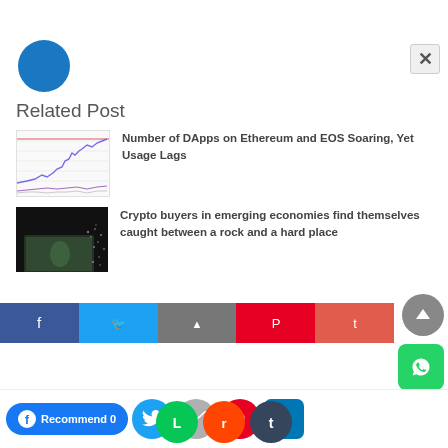Related Post
[Figure (photo): Stock chart / line chart showing crypto price movement with colored lines on white background]
Number of DApps on Ethereum and EOS Soaring, Yet Usage Lags
[Figure (photo): Dark photo of a US dollar bill disintegrating or exploding into particles against black background]
Crypto buyers in emerging economies find themselves caught between a rock and a hard place